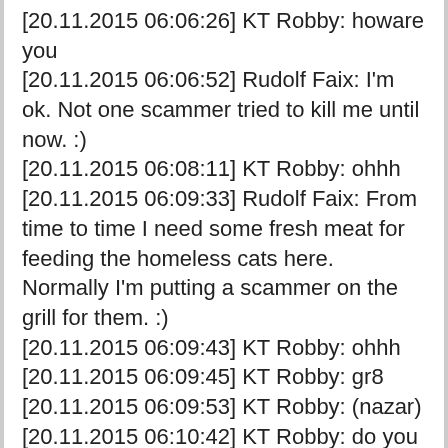[20.11.2015 06:06:26] KT Robby: howare you
[20.11.2015 06:06:52] Rudolf Faix: I'm ok. Not one scammer tried to kill me until now. :)
[20.11.2015 06:08:11] KT Robby: ohhh
[20.11.2015 06:09:33] Rudolf Faix: From time to time I need some fresh meat for feeding the homeless cats here. Normally I'm putting a scammer on the grill for them. :)
[20.11.2015 06:09:43] KT Robby: ohhh
[20.11.2015 06:09:45] KT Robby: gr8
[20.11.2015 06:09:53] KT Robby: (nazar)
[20.11.2015 06:10:42] KT Robby: do you remember earlier I discussed to you regarding my payment dt I was scammed by usa client named omar c solari owner of mako marketing llc
[20.11.2015 06:11:07] KT Robby: recently he also scammed one more person as I